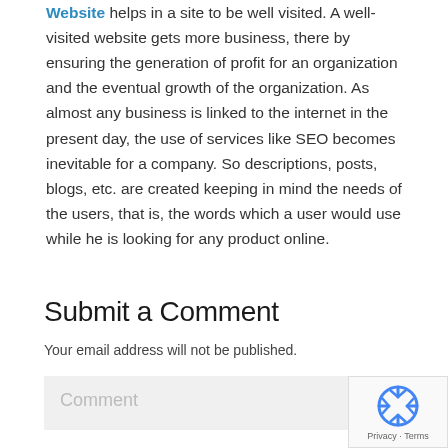Website helps in a site to be well visited. A well-visited website gets more business, there by ensuring the generation of profit for an organization and the eventual growth of the organization. As almost any business is linked to the internet in the present day, the use of services like SEO becomes inevitable for a company. So descriptions, posts, blogs, etc. are created keeping in mind the needs of the users, that is, the words which a user would use while he is looking for any product online.
Submit a Comment
Your email address will not be published.
Comment
[Figure (other): reCAPTCHA badge with spinning arrows icon and 'Privacy - Terms' text]